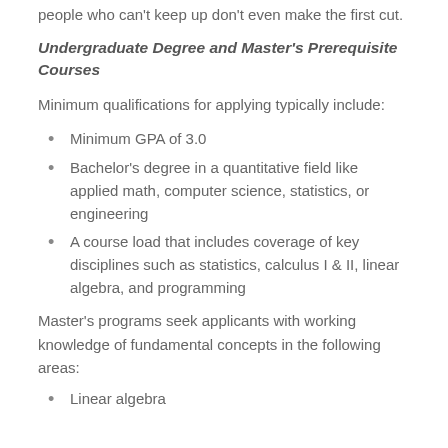people who can't keep up don't even make the first cut.
Undergraduate Degree and Master's Prerequisite Courses
Minimum qualifications for applying typically include:
Minimum GPA of 3.0
Bachelor's degree in a quantitative field like applied math, computer science, statistics, or engineering
A course load that includes coverage of key disciplines such as statistics, calculus I & II, linear algebra, and programming
Master's programs seek applicants with working knowledge of fundamental concepts in the following areas:
Linear algebra